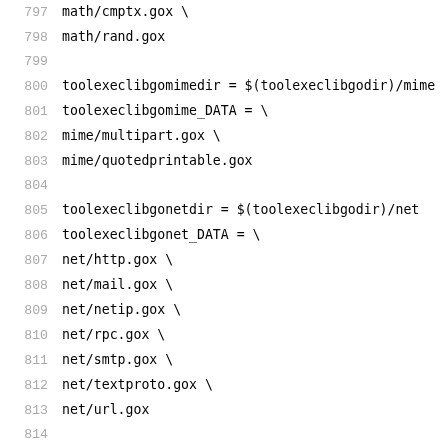797   math/cmptx.gox \
798   math/rand.gox
799
800   toolexeclibgomimedir = $(toolexeclibgodir)/mime
801   toolexeclibgomime_DATA = \
802         mime/multipart.gox \
803         mime/quotedprintable.gox
804
805   toolexeclibgonetdir = $(toolexeclibgodir)/net
806   toolexeclibgonet_DATA = \
807         net/http.gox \
808         net/mail.gox \
809         net/netip.gox \
810         net/rpc.gox \
811         net/smtp.gox \
812         net/textproto.gox \
813         net/url.gox
814
815   toolexeclibgonethttpdir = $(toolexeclibgonetdir
816   toolexeclibgonethttp_DATA = \
817         net/http/cgi.gox \
818         net/http/cookiejar.gox \